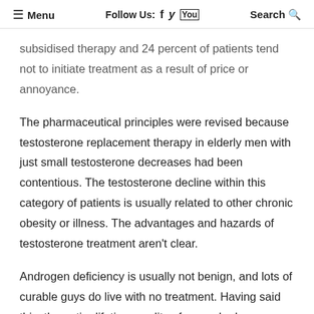☰ Menu   Follow Us: f  𝕪  You  Search 🔍
subsidised therapy and 24 percent of patients tend not to initiate treatment as a result of price or annoyance.
The pharmaceutical principles were revised because testosterone replacement therapy in elderly men with just small testosterone decreases had been contentious. The testosterone decline within this category of patients is usually related to other chronic obesity or illness. The advantages and hazards of testosterone treatment aren't clear.
Androgen deficiency is usually not benign, and lots of curable guys do live with no treatment. Having said this, the entire lifetime quality of men who have untreated